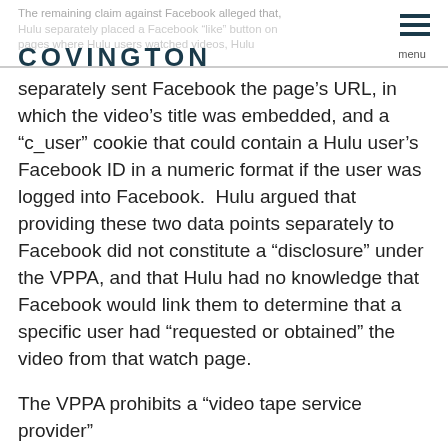The remaining claim against Facebook alleged that, Hulu separately placed a Facebook “like” button on pages where Hulu users watched videos, Hulu
[Figure (logo): Covington law firm logo in dark teal uppercase letters]
separately sent Facebook the page’s URL, in which the video’s title was embedded, and a “c_user” cookie that could contain a Hulu user’s Facebook ID in a numeric format if the user was logged into Facebook.  Hulu argued that providing these two data points separately to Facebook did not constitute a “disclosure” under the VPPA, and that Hulu had no knowledge that Facebook would link them to determine that a specific user had “requested or obtained” the video from that watch page.
The VPPA prohibits a “video tape service provider”